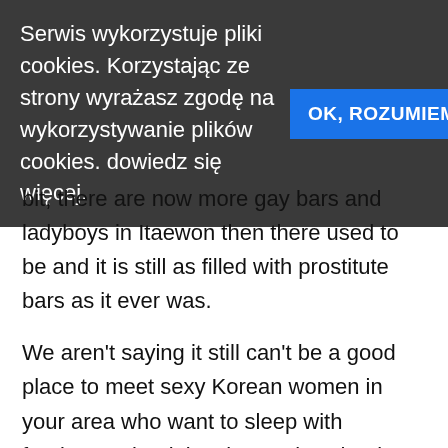Serwis wykorzystuje pliki cookies. Korzystając ze strony wyrażasz zgodę na wykorzystywanie plików cookies. dowiedz się więcej.
OK, ROZUMIEM
bit, there are now more gay bars and ladyboys in Itaewon then there used to be and it is still as filled with prostitute bars as it ever was.
We aren't saying it still can't be a good place to meet sexy Korean women in your area who want to sleep with foreigners, but it just isn't quite what it used to be. Another good area for singles nightlife would be Hongdae, there are plenty of places to party and try to get laid there, it isn't as pretentious as Gangnam nor as weird as Itaewon